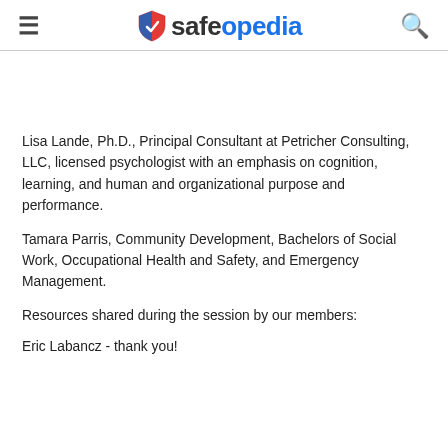safeopedia
Lisa Lande, Ph.D., Principal Consultant at Petricher Consulting, LLC, licensed psychologist with an emphasis on cognition, learning, and human and organizational purpose and performance.
Tamara Parris, Community Development, Bachelors of Social Work, Occupational Health and Safety, and Emergency Management.
Resources shared during the session by our members:
Eric Labancz - thank you!